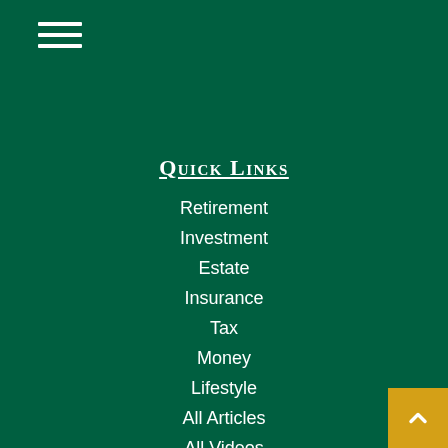≡ (hamburger menu icon)
Quick Links
Retirement
Investment
Estate
Insurance
Tax
Money
Lifestyle
All Articles
All Videos
All Calculators
All Presentations
Check the background of your financial professional on FINRA's BrokerCheck.
The content is developed from sources believed to be providing accurate information. The information in this material is not intended as tax or legal ac... Please consult legal or tax professionals for specific information regarding your individual situation. Some of this material was developed and produced by FMG Suite...